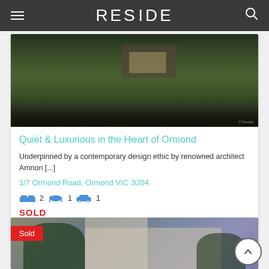RESIDE
[Figure (photo): Exterior rendering of a luxury contemporary property with dark hedges and landscaping at night]
Quiet & Luxurious in the Heart of Ormond
Underpinned by a contemporary design ethic by renowned architect Amnon [...]
1/7 Ormond Road, Ormond VIC 3204
2  1  1
SOLD
[Figure (photo): Exterior rendering of a modern multi-storey home with trees against a purple sky, with a red Sold badge overlay]